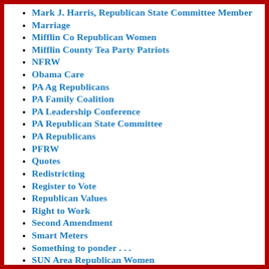Mark J. Harris, Republican State Committee Member
Marriage
Mifflin Co Republican Women
Mifflin County Tea Party Patriots
NFRW
Obama Care
PA Ag Republicans
PA Family Coalition
PA Leadership Conference
PA Republican State Committee
PA Republicans
PFRW
Quotes
Redistricting
Register to Vote
Republican Values
Right to Work
Second Amendment
Smart Meters
Something to ponder . . .
SUN Area Republican Women
Suport our Troops
Susquehanna College Republicans
Susquehanna Valley Conservatives
Take Action!
Taxes